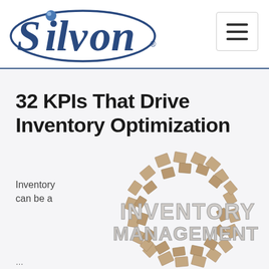Silvon
32 KPIs That Drive Inventory Optimization
Inventory can be a
[Figure (illustration): A sphere made of cardboard boxes with the text 'INVENTORY MANAGEMENT' prominently displayed in 3D letters around the sphere]